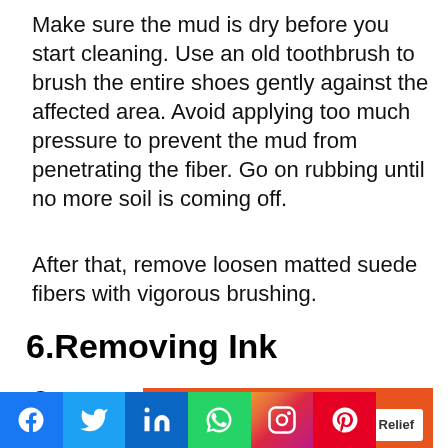Make sure the mud is dry before you start cleaning. Use an old toothbrush to brush the entire shoes gently against the affected area. Avoid applying too much pressure to prevent the mud from penetrating the fiber. Go on rubbing until no more soil is coming off.
After that, remove loosen matted suede fibers with vigorous brushing.
6.Removing Ink
Once you notice the ink on shoes, blot it ASAP.
[Figure (other): Advertisement banner for Direct Relief: orange background with text 'Help send medical aid to Ukraine >>' and Direct Relief logo]
[Figure (other): Social media share buttons bar: Facebook (blue), Twitter (light blue), LinkedIn (blue), WhatsApp (green), Instagram (gradient), Pinterest (red)]